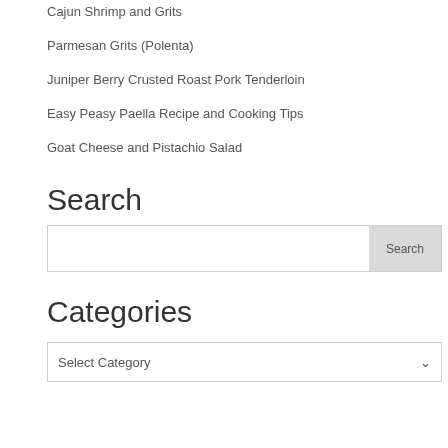Cajun Shrimp and Grits
Parmesan Grits (Polenta)
Juniper Berry Crusted Roast Pork Tenderloin
Easy Peasy Paella Recipe and Cooking Tips
Goat Cheese and Pistachio Salad
Search
[Figure (screenshot): Search input box with a grey Search button on the right]
Categories
[Figure (screenshot): Select Category dropdown widget]